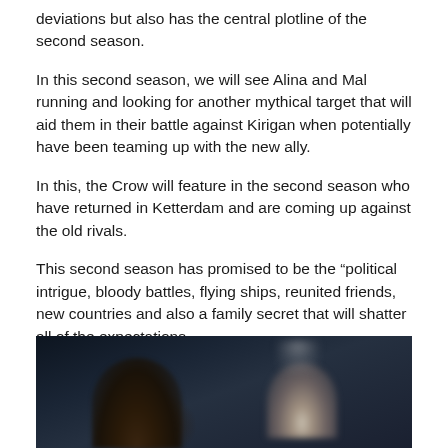deviations but also has the central plotline of the second season.
In this second season, we will see Alina and Mal running and looking for another mythical target that will aid them in their battle against Kirigan when potentially have been teaming up with the new ally.
In this, the Crow will feature in the second season who have returned in Ketterdam and are coming up against the old rivals.
This second season has promised to be the “political intrigue, bloody battles, flying ships, reunited friends, new countries and also a family secret that will shatter all of the expectations.
[Figure (photo): Dark cinematic image showing two figures, one with dark hair on the left and another lighter figure on the right with what appears to be smoke or mist in the background.]